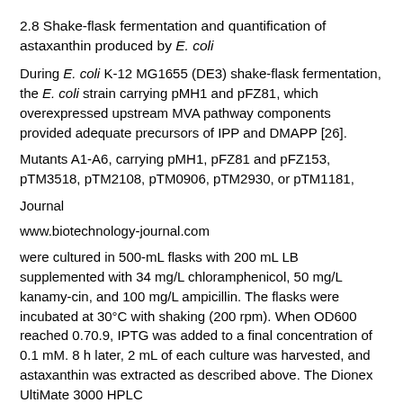2.8 Shake-flask fermentation and quantification of astaxanthin produced by E. coli
During E. coli K-12 MG1655 (DE3) shake-flask fermentation, the E. coli strain carrying pMH1 and pFZ81, which overexpressed upstream MVA pathway components provided adequate precursors of IPP and DMAPP [26].
Mutants A1-A6, carrying pMH1, pFZ81 and pFZ153, pTM3518, pTM2108, pTM0906, pTM2930, or pTM1181,
Journal
www.biotechnology-journal.com
were cultured in 500-mL flasks with 200 mL LB supplemented with 34 mg/L chloramphenicol, 50 mg/L kanamy-cin, and 100 mg/L ampicillin. The flasks were incubated at 30°C with shaking (200 rpm). When OD600 reached 0.70.9, IPTG was added to a final concentration of 0.1 mM. 8 h later, 2 mL of each culture was harvested, and astaxanthin was extracted as described above. The Dionex UltiMate 3000 HPLC